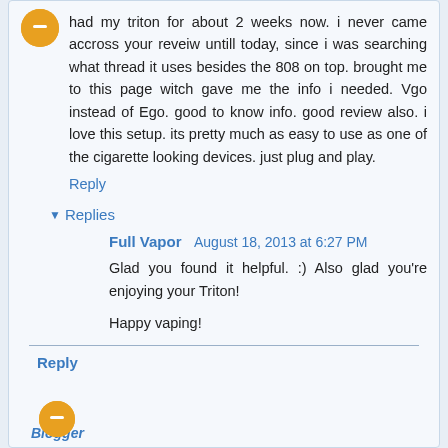had my triton for about 2 weeks now. i never came accross your reveiw untill today, since i was searching what thread it uses besides the 808 on top. brought me to this page witch gave me the info i needed. Vgo instead of Ego. good to know info. good review also. i love this setup. its pretty much as easy to use as one of the cigarette looking devices. just plug and play.
Reply
Replies
Full Vapor August 18, 2013 at 6:27 PM
Glad you found it helpful. :) Also glad you're enjoying your Triton!

Happy vaping!
Reply